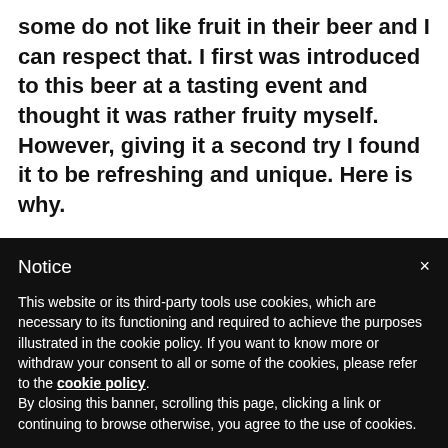interesting dimension to this beer. I understand that some do not like fruit in their beer and I can respect that. I first was introduced to this beer at a tasting event and thought it was rather fruity myself. However, giving it a second try I found it to be refreshing and unique. Here is why.
Witbiers are essentially thirst quenching in nature. The spice of the coriander and citrus notes of the orange help to provide some flavor to a rather dull malt bill. 5 Lizard takes that approach and puts a tropical relaxing
Notice
This website or its third-party tools use cookies, which are necessary to its functioning and required to achieve the purposes illustrated in the cookie policy. If you want to know more or withdraw your consent to all or some of the cookies, please refer to the cookie policy.
By closing this banner, scrolling this page, clicking a link or continuing to browse otherwise, you agree to the use of cookies.